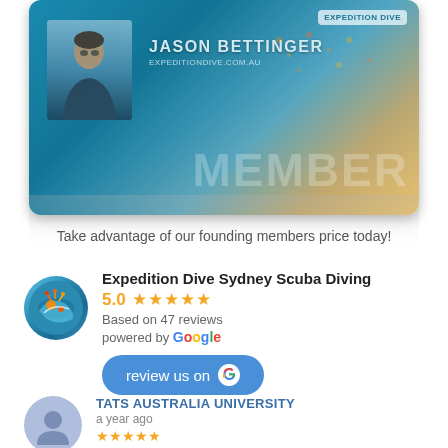[Figure (photo): Expedition Dive membership card featuring Jason Bettinger, with underwater coral background and MEMBER text]
Take advantage of our founding members price today!
[Figure (infographic): Google review widget showing Expedition Dive Sydney Scuba Diving with 5.0 stars based on 47 reviews, powered by Google, with review us on Google button]
Expedition Dive Sydney Scuba Diving
5.0 ★★★★★
Based on 47 reviews
powered by Google
review us on G
TATS AUSTRALIA UNIVERSITY
a year ago